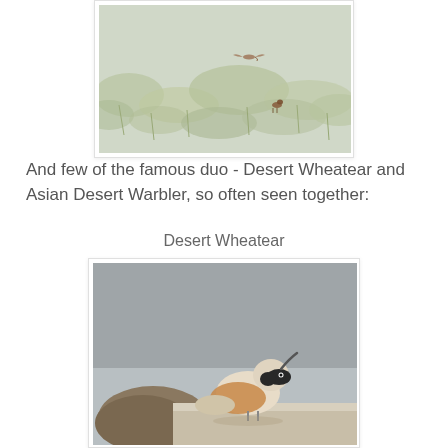[Figure (photo): A bird in flight and another perched in a dry grassland/shrub landscape. Two small birds (Desert Wheatear and Asian Desert Warbler) visible among pale green-grey scrub vegetation.]
And few of the famous duo - Desert Wheatear and Asian Desert Warbler, so often seen together:
Desert Wheatear
[Figure (photo): Close-up photo of a Desert Wheatear bird perched on a rock or stone ledge, with a grey sky background. The bird shows characteristic black mask, pale body, and rufous-orange wing patches.]